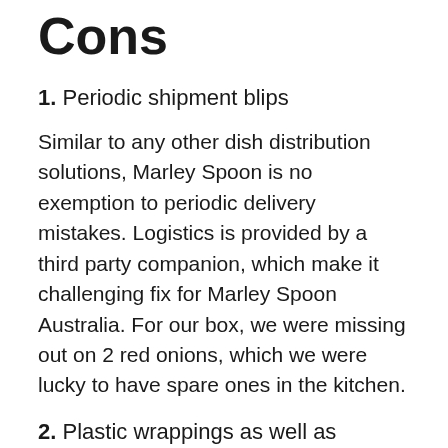Cons
1. Periodic shipment blips
Similar to any other dish distribution solutions, Marley Spoon is no exemption to periodic delivery mistakes. Logistics is provided by a third party companion, which make it challenging fix for Marley Spoon Australia. For our box, we were missing out on 2 red onions, which we were lucky to have spare ones in the kitchen.
2. Plastic wrappings as well as advertising and marketing products
To keep the active ingredients wonderful and fresh, a lot of plastic wrappings and